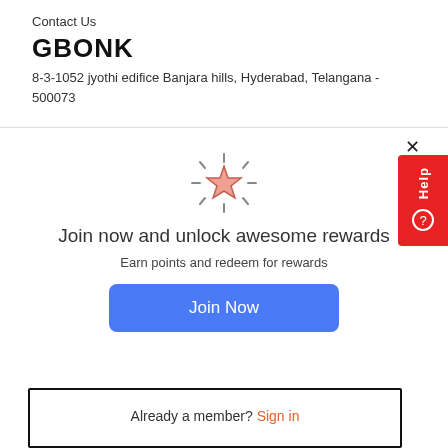Contact Us
GBONK
8-3-1052 jyothi edifice Banjara hills, Hyderabad, Telangana - 500073
[Figure (illustration): Sparkling star icon with rays, pinkish-orange fill]
Join now and unlock awesome rewards
Earn points and redeem for rewards
Join Now
Already a member? Sign in